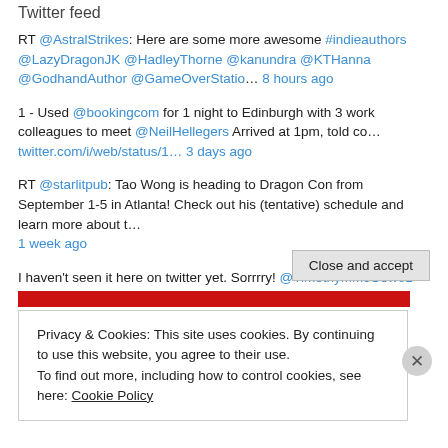Twitter feed
RT @AstralStrikes: Here are some more awesome #indieauthors @LazyDragonJK @HadleyThorne @kanundra @KTHanna @GodhandAuthor @GameOverStatio… 8 hours ago
1 - Used @bookingcom for 1 night to Edinburgh with 3 work colleagues to meet @NeilHellegers Arrived at 1pm, told co… twitter.com/i/web/status/1… 3 days ago
RT @starlitpub: Tao Wong is heading to Dragon Con from September 1-5 in Atlanta! Check out his (tentative) schedule and learn more about t… 1 week ago
I haven't seen it here on twitter yet. Sorrrry! @TimothyMMcGowe1 had
Privacy & Cookies: This site uses cookies. By continuing to use this website, you agree to their use.
To find out more, including how to control cookies, see here: Cookie Policy
Close and accept